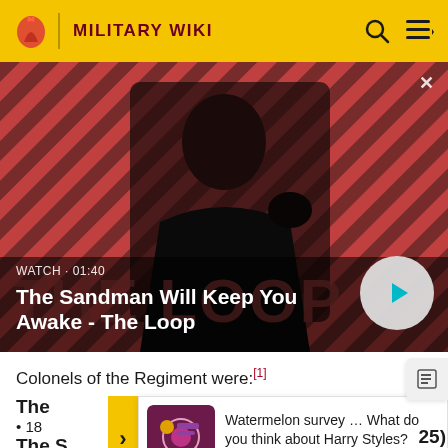MILITARY WIKI
[Figure (screenshot): Video thumbnail for 'The Sandman Will Keep You Awake - The Loop' with a dark-cloaked figure with a raven on striped red/dark background. Shows WATCH · 01:40 label and play button.]
Colonels of the Regiment were:[1]
The
18
The S
[Figure (screenshot): Survey advertisement: Watermelon survey ... What do you think about Harry Styles? TAKE THE SURVEY HERE]